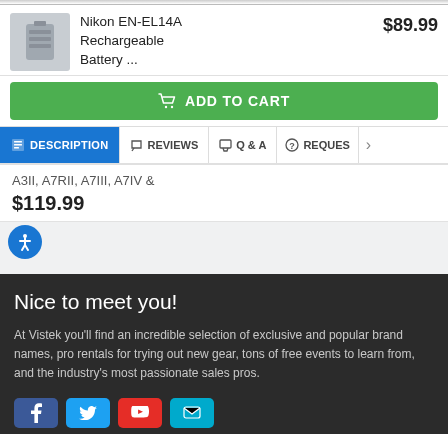Nikon EN-EL14A Rechargeable Battery ...
$89.99
ADD TO CART
DESCRIPTION | REVIEWS | Q & A | REQUES
A3II, A7RII, A7III, A7IV &
$119.99
Nice to meet you!
At Vistek you'll find an incredible selection of exclusive and popular brand names, pro rentals for trying out new gear, tons of free events to learn from, and the industry's most passionate sales pros.